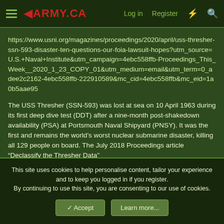1ARMY.CA  Log in  Register
https://www.usni.org/magazines/proceedings/2020/april/uss-thresher-ssn-593-disaster-ten-questions-our-foia-lawsuit-hopes?utm_source=U.S.+Naval+Institute&utm_campaign=4ebc558ffb-Proceedings_This_Week__2020_1_23_COPY_01&utm_medium=email&utm_term=0_adee2c2162-4ebc558ffb-222910589&mc_cid=4ebc558ffb&mc_eid=1a0b5aae95
The USS Thresher (SSN-593) was lost at sea on 10 April 1963 during its first deep dive test (DDT) after a nine-month post-shakedown availability (PSA) at Portsmouth Naval Shipyard (PNSY). It was the first and remains the world’s worst nuclear submarine disaster, killing all 129 people on board. The July 2018 Proceedings article “Declassify the Thresher Data”
This site uses cookies to help personalise content, tailor your experience and to keep you logged in if you register.
By continuing to use this site, you are consenting to our use of cookies.